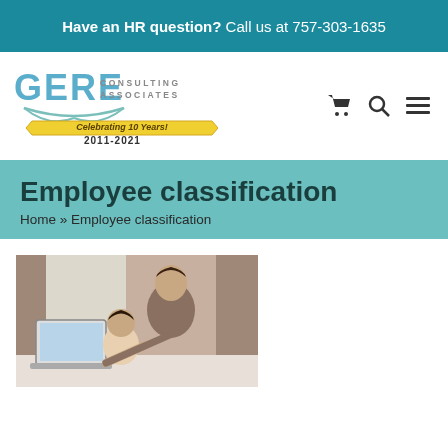Have an HR question? Call us at 757-303-1635
[Figure (logo): Gere Consulting Associates logo with 'Celebrating 10 Years! 2011-2021' banner]
Employee classification
Home » Employee classification
[Figure (photo): Woman and child working together at a laptop computer]